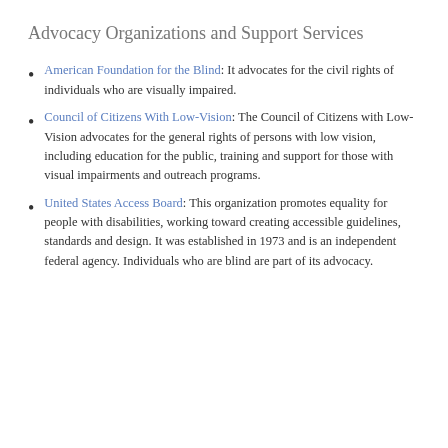Advocacy Organizations and Support Services
American Foundation for the Blind: It advocates for the civil rights of individuals who are visually impaired.
Council of Citizens With Low-Vision: The Council of Citizens with Low-Vision advocates for the general rights of persons with low vision, including education for the public, training and support for those with visual impairments and outreach programs.
United States Access Board: This organization promotes equality for people with disabilities, working toward creating accessible guidelines, standards and design. It was established in 1973 and is an independent federal agency. Individuals who are blind are part of its advocacy.